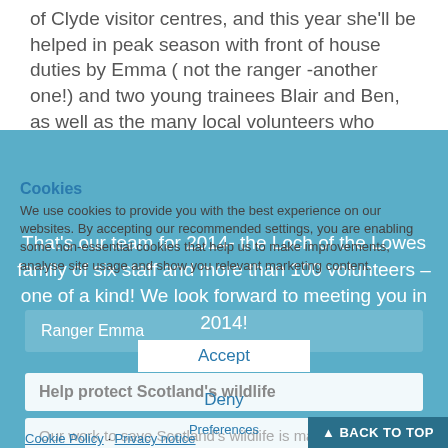of Clyde visitor centres, and this year she'll be helped in peak season with front of house duties by Emma ( not the ranger -another one!) and two young trainees Blair and Ben, as well as the many local volunteers who generously give a few hours a week to help out.
That's our team for 2014- the Loch of the Lowes family of six staff and more than 100 volunteers – one of a kind! We look forward to meeting you in 2014!
Ranger Emma
Help protect Scotland's wildlife
Our work to save Scotland's wildlife is made possible thanks to the generosity of our members and supporters.
Cookies
We use cookies to provide you with the best experience on our websites. By accepting our recommended settings, you are enabling some non-essential cookies that help us to make improvements, analyse site usage and show you relevant marketing content.
Accept
Deny
Preferences
Cookie Policy · Privacy notice
▲ BACK TO TOP